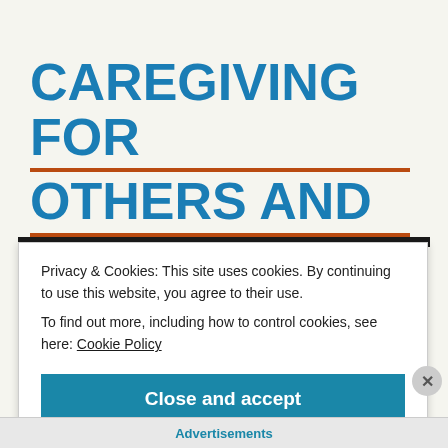CAREGIVING FOR OTHERS AND YOURSELF
Privacy & Cookies: This site uses cookies. By continuing to use this website, you agree to their use.
To find out more, including how to control cookies, see here: Cookie Policy
Close and accept
Advertisements